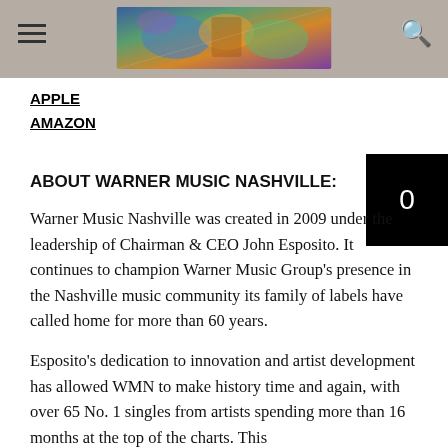Navigation header with hamburger menu, decorative banner image, and search icon
APPLE
AMAZON
ABOUT WARNER MUSIC NASHVILLE:
Warner Music Nashville was created in 2009 under the leadership of Chairman & CEO John Esposito. It continues to champion Warner Music Group's presence in the Nashville music community its family of labels have called home for more than 60 years.
Esposito's dedication to innovation and artist development has allowed WMN to make history time and again, with over 65 No. 1 singles from artists spending more than 16 months at the top of the charts. This